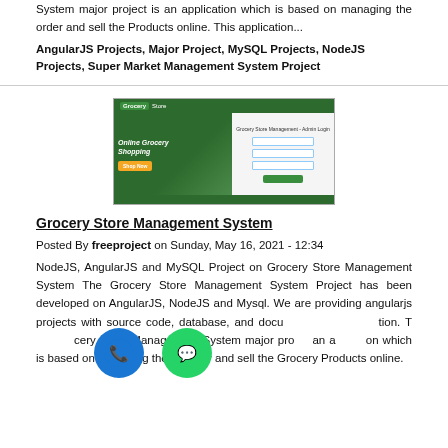System major project is an application which is based on managing the order and sell the Products online. This application...
AngularJS Projects, Major Project, MySQL Projects, NodeJS Projects, Super Market Management System Project
[Figure (screenshot): Screenshot of a Grocery Store Management website showing a green header bar with 'Grocery Store' branding, a dark green banner with 'Online Grocery Shopping' text and a yellow button, and a login form on the right side reading 'Grocery Store Management - Admin Login' with input fields and a green login button.]
Grocery Store Management System
Posted By freeproject on Sunday, May 16, 2021 - 12:34
NodeJS, AngularJS and MySQL Project on Grocery Store Management System The Grocery Store Management System Project has been developed on AngularJS, NodeJS and Mysql. We are providing angularjs projects with source code, database, and documentation. The Grocery Store Management System major project is an application which is based on managing the Grocery and sell the Grocery Products online.